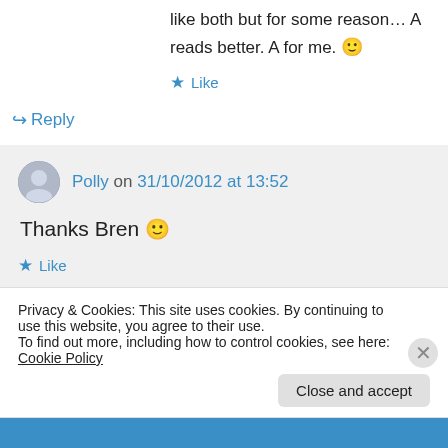like both but for some reason… A reads better. A for me. 🙂
★ Like
↪ Reply
Polly on 31/10/2012 at 13:52
Thanks Bren 🙂
★ Like
Privacy & Cookies: This site uses cookies. By continuing to use this website, you agree to their use. To find out more, including how to control cookies, see here: Cookie Policy
Close and accept